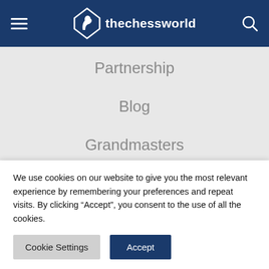thechessworld
Partnership
Blog
Grandmasters
Jobs
Chess Resources
TCW Academy
We use cookies on our website to give you the most relevant experience by remembering your preferences and repeat visits. By clicking “Accept”, you consent to the use of all the cookies.